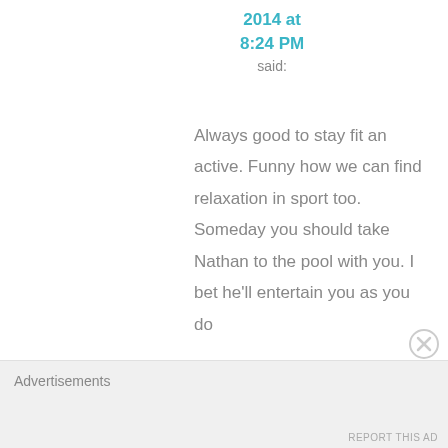2014 at
8:24 PM
said:
Always good to stay fit an active. Funny how we can find relaxation in sport too. Someday you should take Nathan to the pool with you. I bet he'll entertain you as you do
Advertisements
REPORT THIS AD